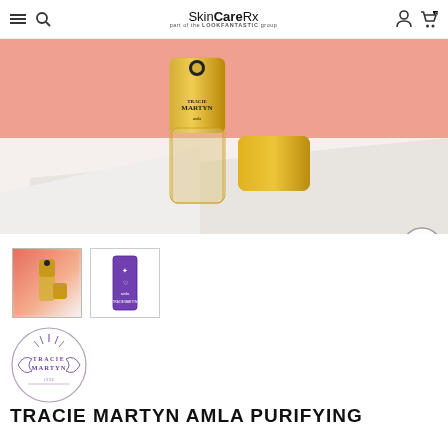SkinCareRx part of the LOOKFANTASTIC group
[Figure (photo): Gold/yellow Tracie Martyn Amla Purifying treatment bottle on salmon pink and white background]
[Figure (photo): Thumbnail 1: Tracie Martyn gold bottle on coral pink background]
[Figure (photo): Thumbnail 2: Tracie Martyn purple product box on white background]
[Figure (logo): Tracie Martyn circular brand logo with decorative illustration]
TRACIE MARTYN AMLA PURIFYING